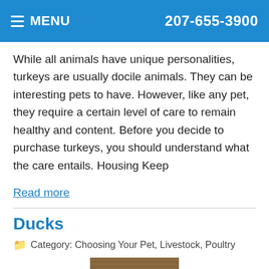MENU  207-655-3900
While all animals have unique personalities, turkeys are usually docile animals. They can be interesting pets to have. However, like any pet, they require a certain level of care to remain healthy and content. Before you decide to purchase turkeys, you should understand what the care entails. Housing Keep
Read more
Ducks
Category: Choosing Your Pet, Livestock, Poultry
[Figure (photo): Photo of ducks near a wooden structure, partially visible]